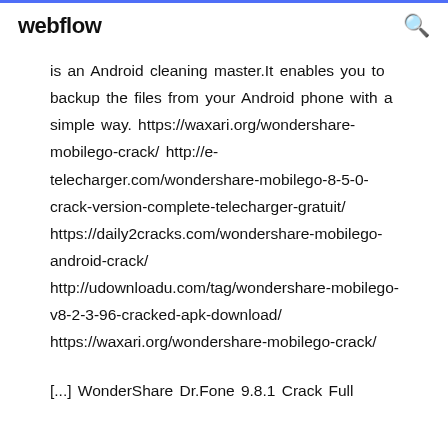webflow
is an Android cleaning master.It enables you to backup the files from your Android phone with a simple way. https://waxari.org/wondershare-mobilego-crack/ http://e-telecharger.com/wondershare-mobilego-8-5-0-crack-version-complete-telecharger-gratuit/ https://daily2cracks.com/wondershare-mobilego-android-crack/ http://udownloadu.com/tag/wondershare-mobilego-v8-2-3-96-cracked-apk-download/ https://waxari.org/wondershare-mobilego-crack/
[...] WonderShare Dr.Fone 9.8.1 Crack Full